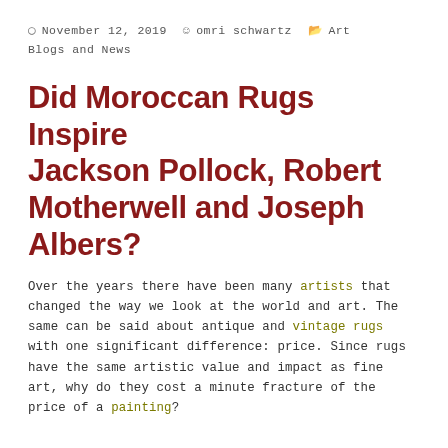November 12, 2019   omri schwartz   Art Blogs and News
Did Moroccan Rugs Inspire Jackson Pollock, Robert Motherwell and Joseph Albers?
Over the years there have been many artists that changed the way we look at the world and art. The same can be said about antique and vintage rugs with one significant difference: price. Since rugs have the same artistic value and impact as fine art, why do they cost a minute fracture of the price of a painting?